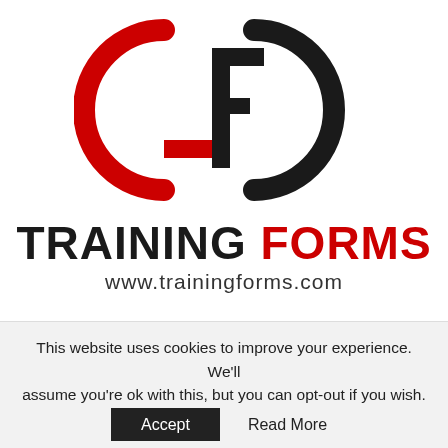[Figure (logo): Training Forms logo: circular design with red arc on left, black arc on right, and a black letter F shape in the center.]
TRAINING FORMS
www.trainingforms.com
EDUCATION
AAUW International Fellowships In
This website uses cookies to improve your experience. We'll assume you're ok with this, but you can opt-out if you wish.
Accept   Read More